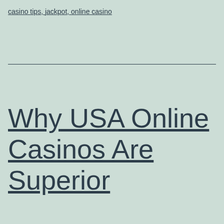casino tips, jackpot, online casino
Why USA Online Casinos Are Superior